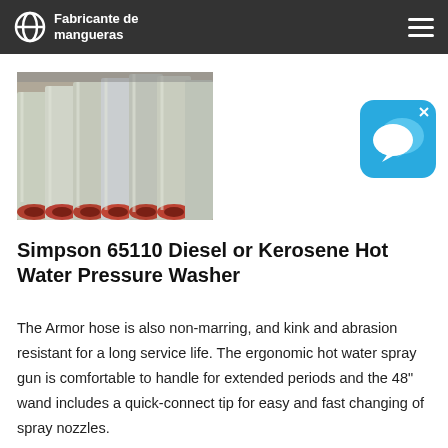Fabricante de mangueras
[Figure (photo): Industrial rubber/plastic pipes with red flanged ends, stacked horizontally, viewed from the end showing circular cross-sections.]
[Figure (other): Blue chat/messaging app icon with speech bubble symbols and a small 'x' close button in the top-right corner.]
Simpson 65110 Diesel or Kerosene Hot Water Pressure Washer
The Armor hose is also non-marring, and kink and abrasion resistant for a long service life. The ergonomic hot water spray gun is comfortable to handle for extended periods and the 48" wand includes a quick-connect tip for easy and fast changing of spray nozzles.